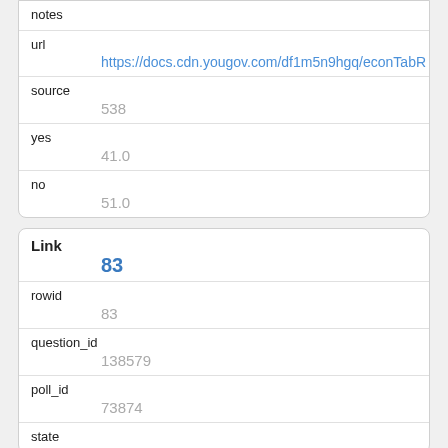| field | value |
| --- | --- |
| notes |  |
| url | https://docs.cdn.yougov.com/df1m5n9hgq/econTabR |
| source | 538 |
| yes | 41.0 |
| no | 51.0 |
| field | value |
| --- | --- |
| Link | 83 |
| rowid | 83 |
| question_id | 138579 |
| poll_id | 73874 |
| state |  |